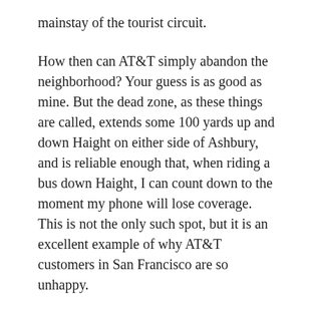mainstay of the tourist circuit.
How then can AT&T simply abandon the neighborhood? Your guess is as good as mine. But the dead zone, as these things are called, extends some 100 yards up and down Haight on either side of Ashbury, and is reliable enough that, when riding a bus down Haight, I can count down to the moment my phone will lose coverage. This is not the only such spot, but it is an excellent example of why AT&T customers in San Francisco are so unhappy.
“But we have the fastest 3G network,” claim the ads. But your network doesn’t work, I say. Yes, in other cities AT&T remains relatively useful.  In San Francisco, however, it is a wish and a prayer.  In my first three hours back from New York last week I made three calls to three different people from three different locations. They all failed. Perhaps this